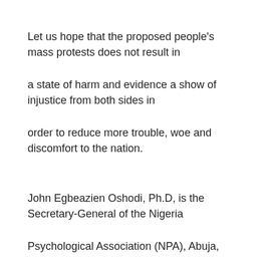Let us hope that the proposed people's mass protests does not result in
a state of harm and evidence a show of injustice from both sides in
order to reduce more trouble, woe and discomfort to the nation.
John Egbeazien Oshodi, Ph.D, is the Secretary-General of the Nigeria
Psychological Association (NPA), Abuja,